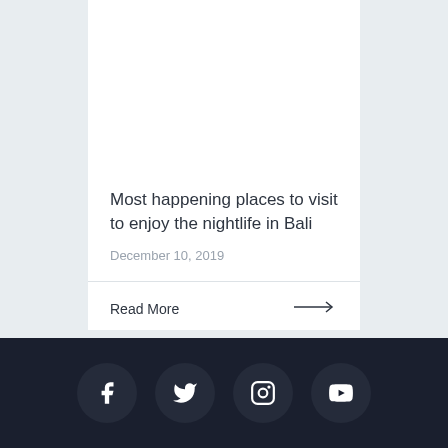Most happening places to visit to enjoy the nightlife in Bali
December 10, 2019
Read More →